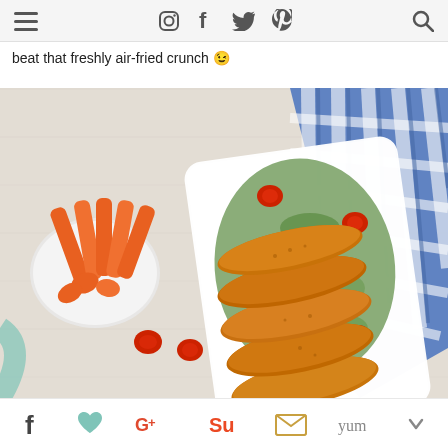Navigation bar with hamburger menu, Instagram, Facebook, Twitter, Pinterest icons, and search icon
beat that freshly air-fried crunch 😉
[Figure (photo): Overhead photo of crispy breaded chicken tenders on a white rectangular plate with arugula greens and cherry tomatoes, alongside a bowl of carrot sticks and a blue and white checkered cloth napkin on a white wood surface]
Social sharing bar with Facebook, Google+, StumbleUpon, email, and Yummly share buttons